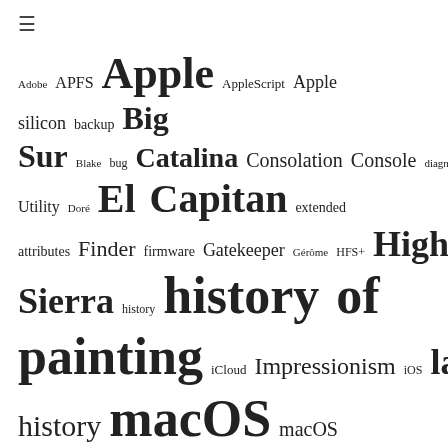[Figure (other): Hamburger menu icon (three horizontal lines)]
Adobe APFS Apple AppleScript Apple silicon backup Big Sur Blake bug Catalina Consolation Console diagnosis Disk Utility Doré El Capitan extended attributes Finder firmware Gatekeeper Gérôme HFS+ High Sierra history history of painting iCloud Impressionism iOS landscape LockRattler log logs M1 Mac Mac history macOS macOS 10.12 macOS 10.13 macOS 10.14 macOS 10.15 macOS 11 macOS 12 malware Metamorphoses Mojave Monet Monterey Moreau MRT myth narrative OS X Ovid painting Pissarro Poussin privacy realism riddle Rubens Sargent scripting security Sierra SilentKnight SSD Swift symbolism Time Machine